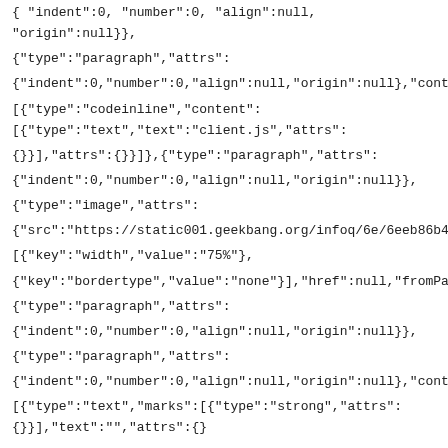{ "indent":0, "number":0, "align":null, "origin":null}},
{"type":"paragraph","attrs":
{"indent":0,"number":0,"align":null,"origin":null},"content":
[{"type":"codeinline","content":[{"type":"text","text":"client.js","attrs":
{}}],"attrs":{}}]},{"type":"paragraph","attrs":
{"indent":0,"number":0,"align":null,"origin":null}},
{"type":"image","attrs":
{"src":"https://static001.geekbang.org/infoq/6e/6eeb86b4ed7160f94acc
[{"key":"width","value":"75%"},
{"key":"bordertype","value":"none"}],"href":null,"fromPaste":true,"pasteP
{"type":"paragraph","attrs":
{"indent":0,"number":0,"align":null,"origin":null}},
{"type":"paragraph","attrs":
{"indent":0,"number":0,"align":null,"origin":null},"content":
[{"type":"text","marks":[{"type":"strong","attrs":{}}],"text":"","attrs":{}